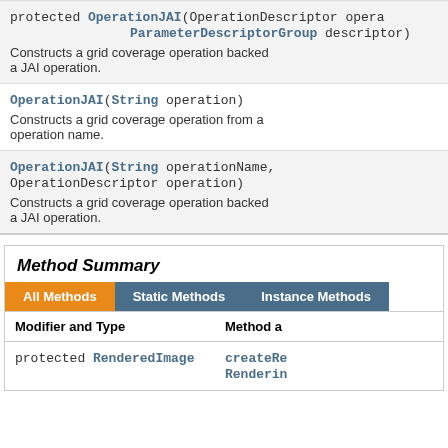protected OperationJAI(OperationDescriptor opera... ParameterDescriptorGroup descriptor)
Constructs a grid coverage operation backed a JAI operation.
OperationJAI(String operation)
Constructs a grid coverage operation from a operation name.
OperationJAI(String operationName, OperationDescriptor operation)
Constructs a grid coverage operation backed a JAI operation.
Method Summary
| Modifier and Type | Method a |
| --- | --- |
| protected RenderedImage | createRe... Renderin... |